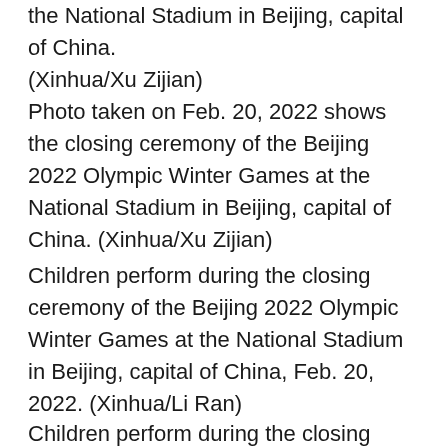the National Stadium in Beijing, capital of China. (Xinhua/Xu Zijian)
Photo taken on Feb. 20, 2022 shows the closing ceremony of the Beijing 2022 Olympic Winter Games at the National Stadium in Beijing, capital of China. (Xinhua/Xu Zijian)
Children perform during the closing ceremony of the Beijing 2022 Olympic Winter Games at the National Stadium in Beijing, capital of China, Feb. 20, 2022. (Xinhua/Li Ran)
Children perform during the closing ceremony of the